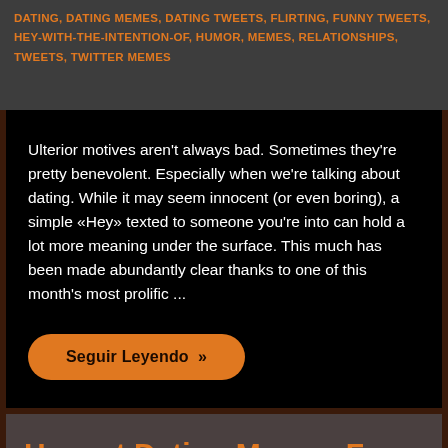DATING, DATING MEMES, DATING TWEETS, FLIRTING, FUNNY TWEETS, HEY-WITH-THE-INTENTION-OF, HUMOR, MEMES, RELATIONSHIPS, TWEETS, TWITTER MEMES
Ulterior motives aren't always bad. Sometimes they're pretty benevolent. Especially when we're talking about dating. While it may seem innocent (or even boring), a simple «Hey» texted to someone you're into can hold a lot more meaning under the surface. This much has been made abundantly clear thanks to one of this month's most prolific ...
Seguir Leyendo »
Honest Dating Memes For the St... of Suff...